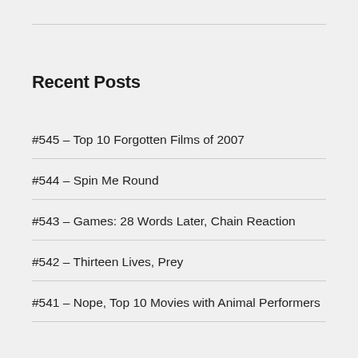Recent Posts
#545 – Top 10 Forgotten Films of 2007
#544 – Spin Me Round
#543 – Games: 28 Words Later, Chain Reaction
#542 – Thirteen Lives, Prey
#541 – Nope, Top 10 Movies with Animal Performers